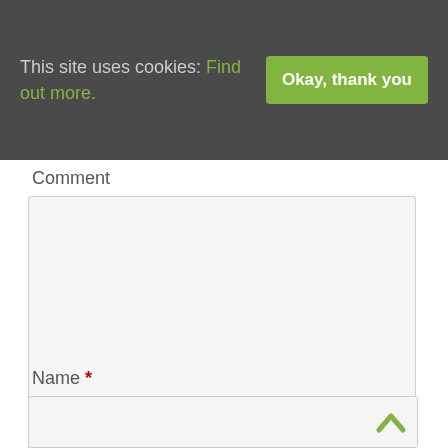This site uses cookies: Find out more. [Okay, thank you]
Comment
[Figure (screenshot): Empty comment textarea input box with light gray background and resize handle]
Name *
[Figure (screenshot): Name text input field with light gray background and a green chevron/up-arrow icon on the right side]